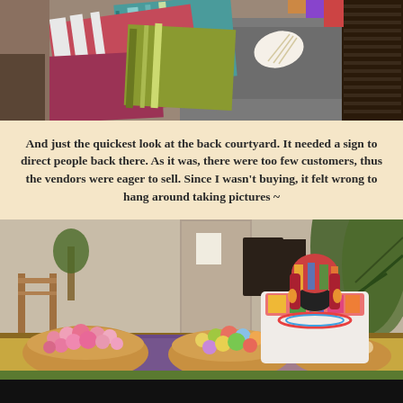[Figure (photo): Colorful woven textiles and fabric goods displayed on tables at a market, various striped patterns in pink, red, green, grey tones]
And just the quickest look at the back courtyard. It needed a sign to direct people back there. As it was, there were too few customers, thus the vendors were eager to sell. Since I wasn't buying, it felt wrong to hang around taking pictures ~
[Figure (photo): A woman wearing a colorful embroidered blouse, beaded necklaces, patterned headscarf, and a black face mask, standing behind a table with large wicker baskets filled with colorful candies or sweets, in a courtyard setting with stone columns and palm fronds visible in the background]